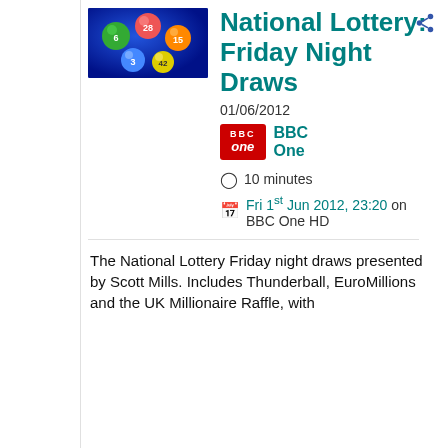[Figure (photo): Lottery balls on a blue background — colourful numbered balls including green, red, and others]
National Lottery: Friday Night Draws
01/06/2012
[Figure (logo): BBC One logo — red rectangle with 'BBC one' text in white]
BBC One
10 minutes
Fri 1st Jun 2012, 23:20 on BBC One HD
The National Lottery Friday night draws presented by Scott Mills. Includes Thunderball, EuroMillions and the UK Millionaire Raffle, with